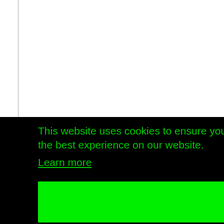March 2027 - Week number 11
[Figure (screenshot): Calendar day icon showing the number 1 on a steel-blue background, representing a calendar date cell]
This website uses cookies to ensure you get the best experience on our website. Learn more
OK